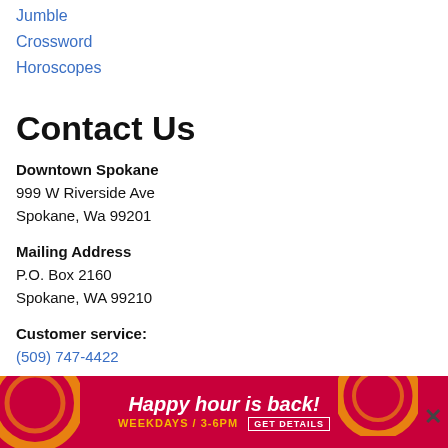Jumble
Crossword
Horoscopes
Contact Us
Downtown Spokane
999 W Riverside Ave
Spokane, Wa 99201
Mailing Address
P.O. Box 2160
Spokane, WA 99210
Customer service:
(509) 747-4422
Newsro
[Figure (infographic): Advertisement banner: red background with decorative gold circular shapes. Text reads 'Happy hour is back!' in white italic bold font, 'WEEKDAYS / 3-6PM' in gold, and a 'GET DETAILS' button. A close (X) button appears at the right.]